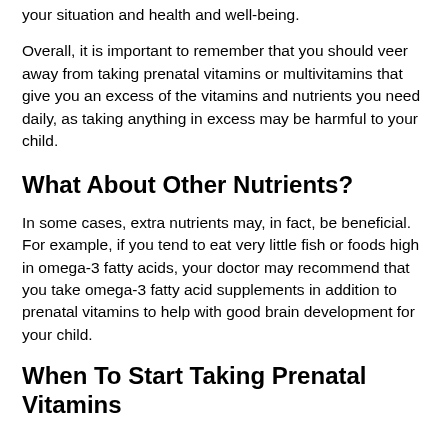your situation and health and well-being.
Overall, it is important to remember that you should veer away from taking prenatal vitamins or multivitamins that give you an excess of the vitamins and nutrients you need daily, as taking anything in excess may be harmful to your child.
What About Other Nutrients?
In some cases, extra nutrients may, in fact, be beneficial. For example, if you tend to eat very little fish or foods high in omega-3 fatty acids, your doctor may recommend that you take omega-3 fatty acid supplements in addition to prenatal vitamins to help with good brain development for your child.
When To Start Taking Prenatal Vitamins